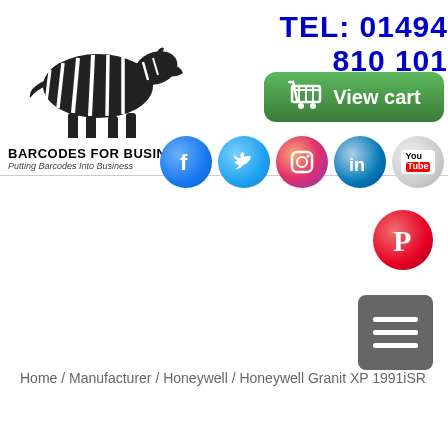[Figure (logo): Barcodes for Business logo with zebra illustration and company name 'BARCODES FOR BUSINESS - Putting Barcodes Into Business']
TEL: 01494 810 101
[Figure (other): Green View cart button with shopping cart icon]
[Figure (other): Social media icons row: Facebook, Twitter, Instagram, LinkedIn, YouTube]
[Figure (other): Pinterest social media icon]
[Figure (other): Hamburger menu button (three horizontal lines on grey background)]
Home / Manufacturer / Honeywell / Honeywell Granit XP 1991iSR